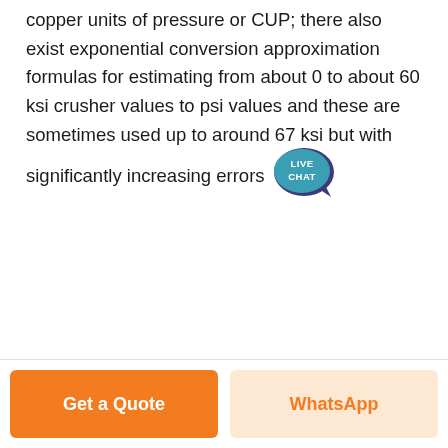copper units of pressure or CUP; there also exist exponential conversion approximation formulas for estimating from about 0 to about 60 ksi crusher values to psi values and these are sometimes used up to around 67 ksi but with significantly increasing errors
[Figure (other): Live Chat speech bubble badge with dark blue/purple color and white text reading LIVE CHAT]
Get a Quote
WhatsApp